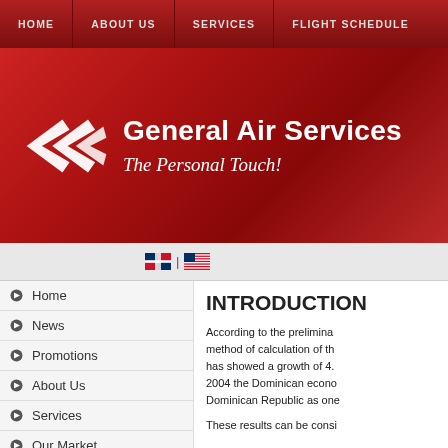HOME | ABOUT US | SERVICES | FLIGHT SCHEDULE
[Figure (logo): General Air Services logo with white airplane/wing graphic and text 'General Air Services - The Personal Touch!']
[Figure (other): Dominican Republic and US flags with separator bar]
Home
News
Promotions
About Us
Services
Our Market
Introduction
INTRODUCTION
According to the preliminary method of calculation of th... has showed a growth of 4.... 2004 the Dominican econo... Dominican Republic as one...
These results can be consi...